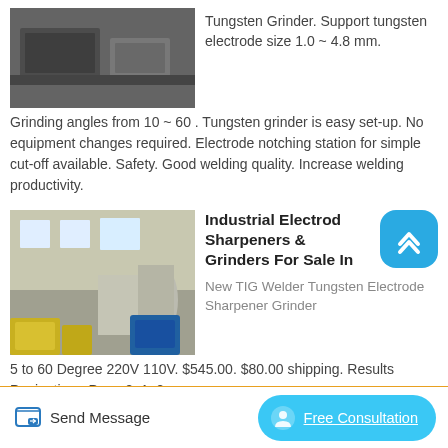[Figure (photo): Photo of industrial equipment, likely a tungsten grinder on a dark floor in a workshop]
Tungsten Grinder. Support tungsten electrode size 1.0 ~ 4.8 mm. Grinding angles from 10 ~ 60 . Tungsten grinder is easy set-up. No equipment changes required. Electrode notching station for simple cut-off available. Safety. Good welding quality. Increase welding productivity.
[Figure (photo): Photo of industrial factory floor with large machinery and yellow metal coils]
Industrial Electrode Sharpeners & Grinders For Sale In
New TIG Welder Tungsten Electrode Sharpener Grinder 5 to 60 Degree 220V 110V. $545.00. $80.00 shipping. Results Pagination - Page 2. 1. 2.
Send Message
Free Consultation